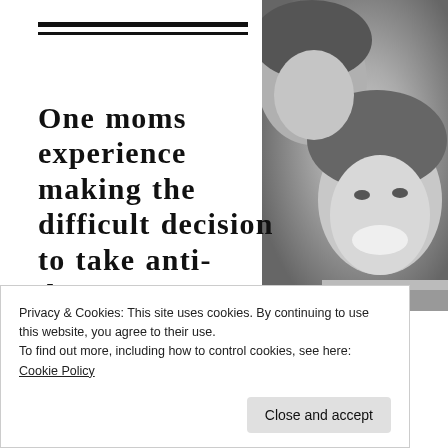[Figure (photo): Black and white photo of a smiling mother with a young child hugging her from behind, close-up portrait]
One moms experience making the difficult decision to take anti-depressants as a mother
Privacy & Cookies: This site uses cookies. By continuing to use this website, you agree to their use.
To find out more, including how to control cookies, see here: Cookie Policy
Close and accept